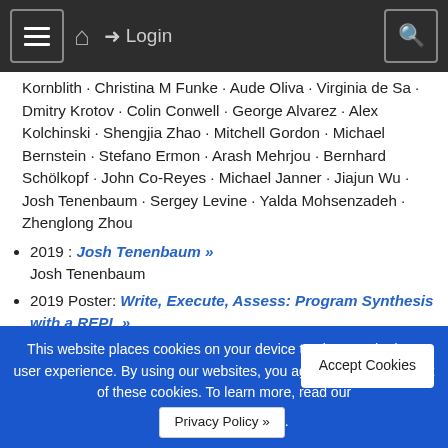≡  🏠  ➔ Login  🔍
Kornblith · Christina M Funke · Aude Oliva · Virginia de Sa · Dmitry Krotov · Colin Conwell · George Alvarez · Alex Kolchinski · Shengjia Zhao · Mitchell Gordon · Michael Bernstein · Stefano Ermon · Arash Mehrjou · Bernhard Schölkopf · John Co-Reyes · Michael Janner · Jiajun Wu · Josh Tenenbaum · Sergey Levine · Yalda Mohsenzadeh · Zhenglong Zhou
2019 : Josh Tenenbaum »
Josh Tenenbaum
2019 Poster: Write, Execute, Assess: Program Synthesis with a REPL »
Kevin Ellis · Maxwell Nye · Yewen Pu · Felix Sosa · Josh Tenenbaum · Armando Solar-Lezama
2019 Poster: ObjectNet: A large-scale bias-controlled
This website places cookies on your device to give you the best user experience. By using our websites, you agree to the placement of these cookies. To learn more, read our Privacy Policy ».